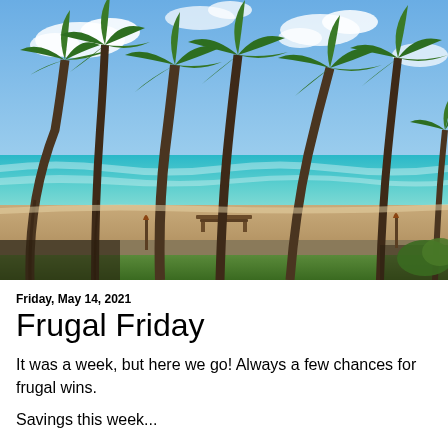[Figure (photo): Tropical beach scene with tall palm trees in the foreground, sandy beach, turquoise ocean water, and a picnic bench in the middle distance under partly cloudy blue sky]
Friday, May 14, 2021
Frugal Friday
It was a week, but here we go! Always a few chances for frugal wins.
Savings this week...